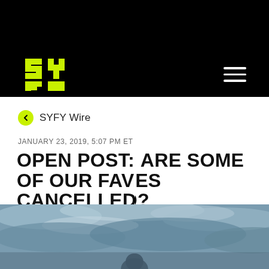SYFY
SYFY Wire
JANUARY 23, 2019, 5:07 PM ET
OPEN POST: ARE SOME OF OUR FAVES CANCELLED?
By Cher Martinetti
[Figure (photo): Grey-toned dramatic sky/clouds background photo for article header image]